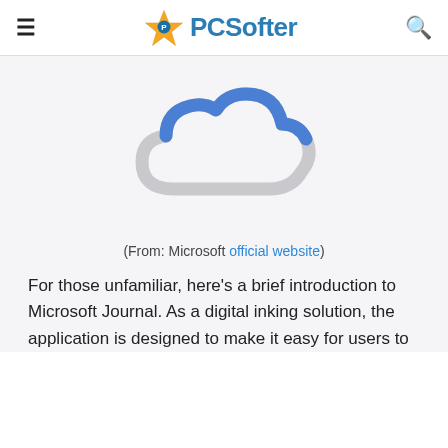PCSofter
[Figure (illustration): A cloud icon with the top portion outlined in blue and the bottom portion in light gray, representing a cloud/sync service icon from Microsoft.]
(From: Microsoft official website)
For those unfamiliar, here's a brief introduction to Microsoft Journal. As a digital inking solution, the application is designed to make it easy for users to